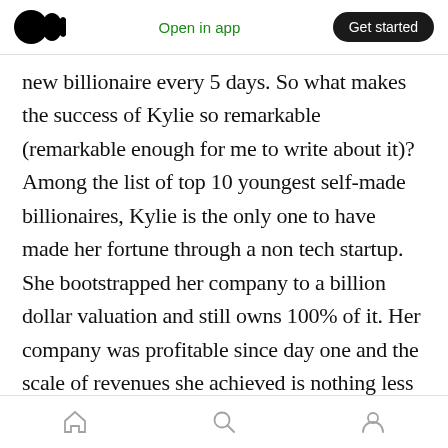Medium logo | Open in app | Get started
new billionaire every 5 days. So what makes the success of Kylie so remarkable (remarkable enough for me to write about it)? Among the list of top 10 youngest self-made billionaires, Kylie is the only one to have made her fortune through a non tech startup. She bootstrapped her company to a billion dollar valuation and still owns 100% of it. Her company was profitable since day one and the scale of revenues she achieved is nothing less than amazing. Fashion mogul Tom Ford took over 10 years to achieve the revenue she achieved in less than 3 years. And while there is a
Home | Search | Profile